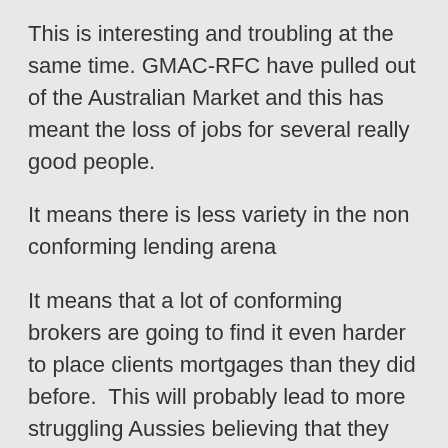This is interesting and troubling at the same time. GMAC-RFC have pulled out of the Australian Market and this has meant the loss of jobs for several really good people.
It means there is less variety in the non conforming lending arena
It means that a lot of conforming brokers are going to find it even harder to place clients mortgages than they did before.  This will probably lead to more struggling Aussies believing that they are beyond help and may possibly lose hteir homes because of it.
This is very troubling as that is simply not the case.
While I have to agree that it is getting harder to find a home loan for some clients,  there are still heaps of options